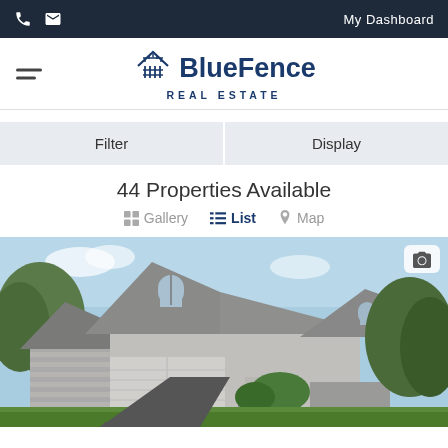My Dashboard
[Figure (logo): BlueFence Real Estate logo with house/fence icon]
Filter
Display
44 Properties Available
Gallery  List  Map
[Figure (photo): Exterior photo of a large grey house with arched windows, two-car garage, and lush green landscaping]